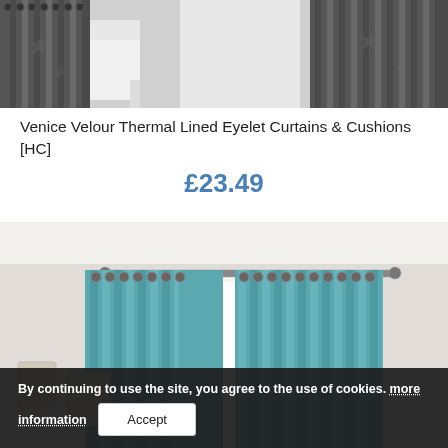[Figure (photo): Top portion of a product image showing dark grey eyelet curtains with a white chair in a room setting]
Venice Velour Thermal Lined Eyelet Curtains & Cushions [HC]
£23.49
[Figure (photo): Teal/duck-egg blue velour eyelet curtains hung on a silver curtain rod in a bright room with white walls]
By continuing to use the site, you agree to the use of cookies. more information
Accept